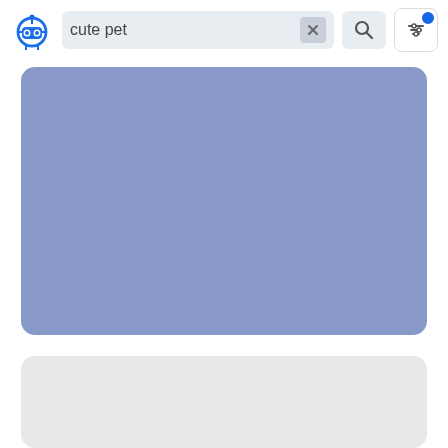[Figure (screenshot): App UI screenshot showing a search bar with 'cute pet' query, a robot logo, filter icon with notification dot, a blue content card, and a gray content card below]
cute pet